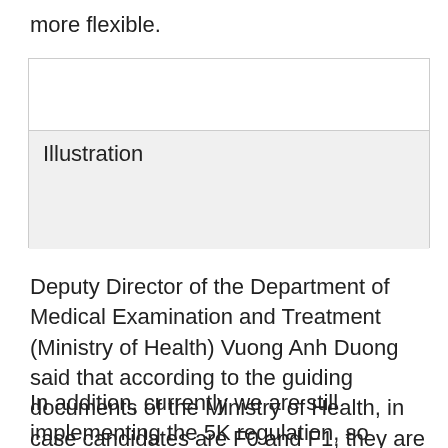more flexible.
[Figure (illustration): Illustration placeholder box with white upper area and grey lower area labeled 'Illustration']
Deputy Director of the Department of Medical Examination and Treatment (Ministry of Health) Vuong Anh Duong said that according to the guiding documents of the Ministry of Health, in case candidates are F0 and F1, they are required to wear masks.
In addition, currently we are still implementing the 5K regulation, so localities still require candidates to wear masks, but the view of the Ministry of Health is